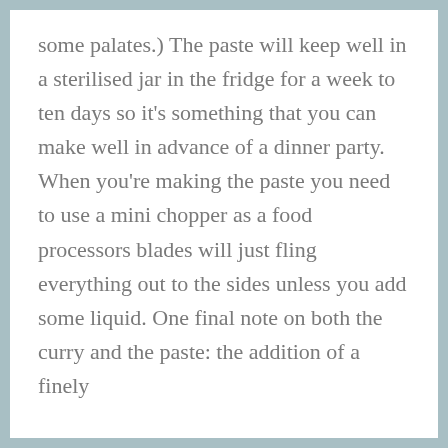some palates.)  The paste will keep well in a sterilised jar in the fridge for a week to ten days so it's something that you can make well in advance of a dinner party.  When you're making the paste you need to use a mini chopper as a food processors blades will just fling everything out to the sides unless you add some liquid.  One final note on both the curry and the paste:  the addition of a finely